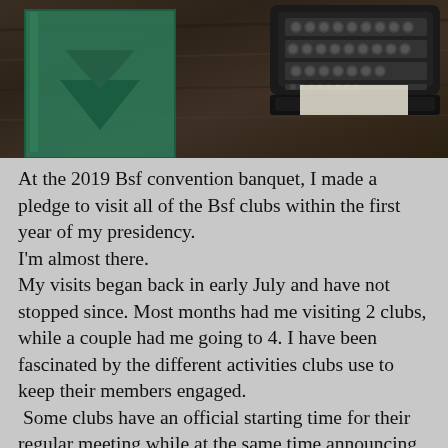[Figure (photo): Dark wood background with a green felt/book object on the left and a vintage typewriter keyboard on the right]
At the 2019 Bsf convention banquet, I made a pledge to visit all of the Bsf clubs within the first year of my presidency.
I'm almost there.
My visits began back in early July and have not stopped since. Most months had me visiting 2 clubs, while a couple had me going to 4. I have been fascinated by the different activities clubs use to keep their members engaged.
 Some clubs have an official starting time for their regular meeting while at the same time announcing an earlier starting time (usually 30 minutes) for their new members in order to answer questions and give instruction. Most clubs have a “show & tell” segment allowing members to showcase their trees. The “raffle table” seems to be a staple at most clubs; it serves to not only generate revenue for the club but also the